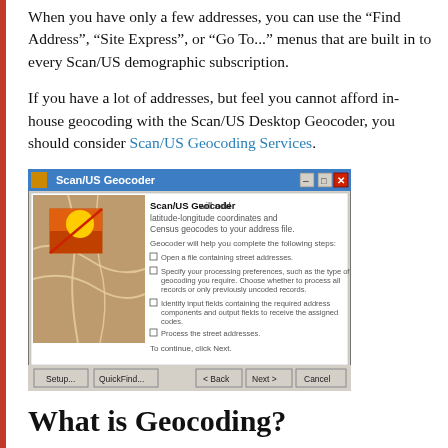When you have only a few addresses, you can use the “Find Address”, “Site Express”, or “Go To...” menus that are built in to every Scan/US demographic subscription.
If you have a lot of addresses, but feel you cannot afford in-house geocoding with the Scan/US Desktop Geocoder, you should consider Scan/US Geocoding Services.
[Figure (screenshot): Screenshot of Scan/US Geocoder application window showing a map image on the left and wizard steps on the right, with buttons Setup, QuickFind, Back, Next, and Cancel at the bottom.]
What is Geocoding?
Geocoding is the process of converting...